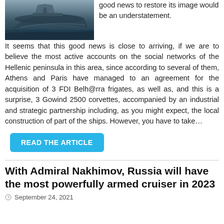[Figure (photo): Ship or naval vessel at sea, partial view at top of page]
good news to restore its image would be an understatement. It seems that this good news is close to arriving, if we are to believe the most active accounts on the social networks of the Hellenic peninsula in this area, since according to several of them, Athens and Paris have managed to an agreement for the acquisition of 3 FDI Belh@rra frigates, as well as, and this is a surprise, 3 Gowind 2500 corvettes, accompanied by an industrial and strategic partnership including, as you might expect, the local construction of part of the ships. However, you have to take…
READ THE ARTICLE
With Admiral Nakhimov, Russia will have the most powerfully armed cruiser in 2023
September 24, 2021